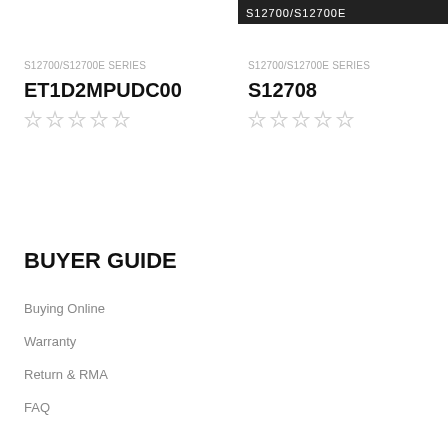[Figure (other): Dark banner image at top right, product image area for S12700/S12700E series]
S12700/S12700E SERIES
ET1D2MPUDC00
[Figure (other): 5 empty star rating icons]
S12700/S12700E SERIES
S12708
[Figure (other): 5 empty star rating icons]
BUYER GUIDE
Buying Online
Warranty
Return & RMA
FAQ